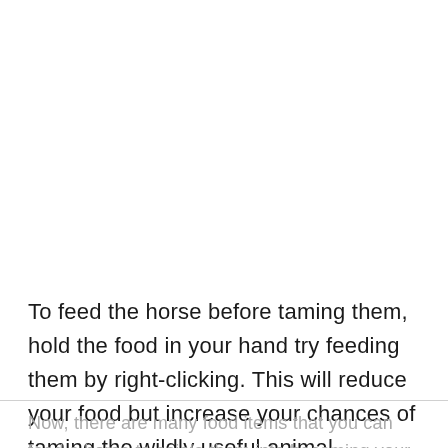To feed the horse before taming them, hold the food in your hand try feeding them by right-clicking. This will reduce your food but increase your chances of taming the wildly useful animal.
Now, there are many food items that you can feed a horse to cajole them into becoming your pet...